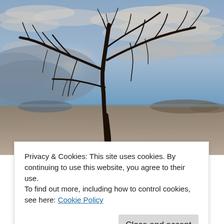[Figure (photo): A lone dead tree silhouetted against a dramatic cloudy sky, standing on a flat, cracked dry lakebed desert landscape with distant low hills on the horizon. The sky features wispy cirrus clouds with a blue tone.]
Privacy & Cookies: This site uses cookies. By continuing to use this website, you agree to their use.
To find out more, including how to control cookies, see here: Cookie Policy
Close and accept
And the guy who made its brother, what about